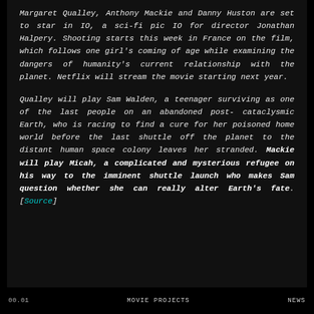Margaret Qualley, Anthony Mackie and Danny Huston are set to star in IO, a sci-fi pic IO for director Jonathan Halpery. Shooting starts this week in France on the film, which follows one girl's coming of age while examining the dangers of humanity's current relationship with the planet. Netflix will stream the movie starting next year.
Qualley will play Sam Walden, a teenager surviving as one of the last people on an abandoned post-cataclysmic Earth, who is racing to find a cure for her poisoned home world before the last shuttle off the planet to the distant human space colony leaves her stranded. Mackie will play Micah, a complicated and mysterious refugee on his way to the imminent shuttle launch who makes Sam question whether she can really alter Earth's fate. [Source]
00.01    MOVIE PROJECTS    NEWS